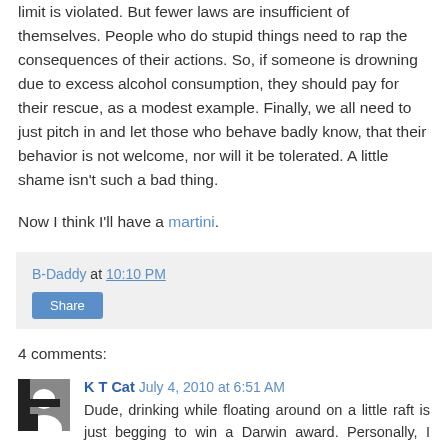limit is violated. But fewer laws are insufficient of themselves. People who do stupid things need to rap the consequences of their actions. So, if someone is drowning due to excess alcohol consumption, they should pay for their rescue, as a modest example. Finally, we all need to just pitch in and let those who behave badly know, that their behavior is not welcome, nor will it be tolerated. A little shame isn't such a bad thing.
Now I think I'll have a martini.
B-Daddy at 10:10 PM
Share
4 comments:
K T Cat July 4, 2010 at 6:51 AM
Dude, drinking while floating around on a little raft is just begging to win a Darwin award. Personally, I don't mind the booze ban.